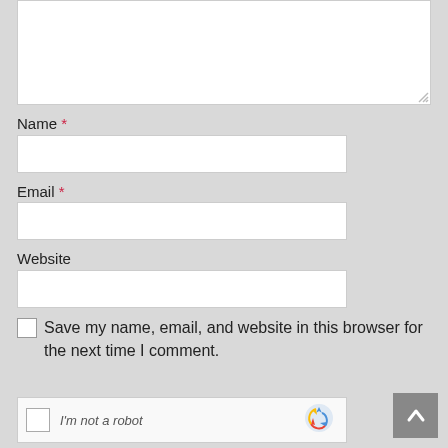[Figure (screenshot): Partial textarea at top of page with resize handle]
Name *
[Figure (screenshot): Name text input field]
Email *
[Figure (screenshot): Email text input field]
Website
[Figure (screenshot): Website text input field]
Save my name, email, and website in this browser for the next time I comment.
[Figure (screenshot): reCAPTCHA widget with checkbox and 'I'm not a robot' text]
[Figure (screenshot): Scroll to top button with upward arrow]